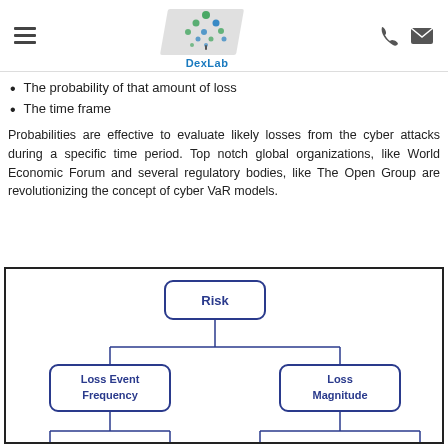DexLab
The probability of that amount of loss
The time frame
Probabilities are effective to evaluate likely losses from the cyber attacks during a specific time period. Top notch global organizations, like World Economic Forum and several regulatory bodies, like The Open Group are revolutionizing the concept of cyber VaR models.
[Figure (organizational-chart): Organizational/hierarchical chart showing Risk at the top, branching into Loss Event Frequency and Loss Magnitude. Loss Event Frequency branches into Threat Event Frequency and Vulnerability. Loss Magnitude branches into Primary Loss and Secondary (partially visible).]